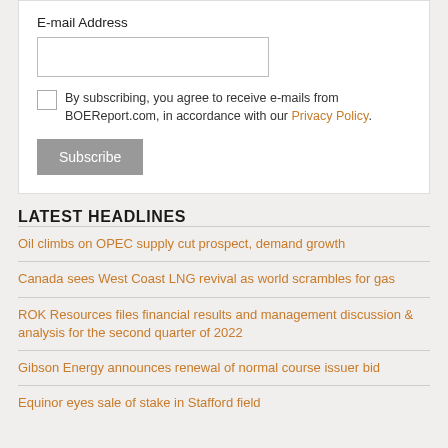E-mail Address
By subscribing, you agree to receive e-mails from BOEReport.com, in accordance with our Privacy Policy.
Subscribe
LATEST HEADLINES
Oil climbs on OPEC supply cut prospect, demand growth
Canada sees West Coast LNG revival as world scrambles for gas
ROK Resources files financial results and management discussion & analysis for the second quarter of 2022
Gibson Energy announces renewal of normal course issuer bid
Equinor eyes sale of stake in Stafford field